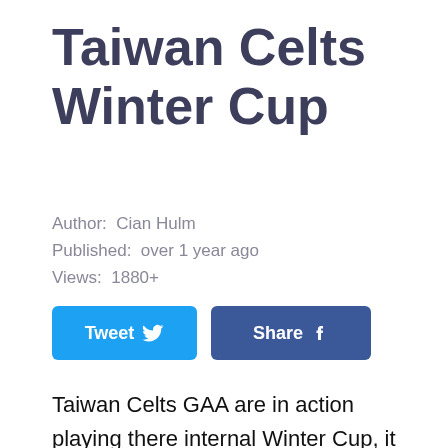Taiwan Celts Winter Cup
Author:  Cian Hulm
Published:  over 1 year ago
Views:  1880+
[Figure (other): Tweet and Share social media buttons]
Taiwan Celts GAA are in action playing there internal Winter Cup, it was the Ulster team with the win in Day 2 of the games. Best of luck to Team Ulster, Leinster, Munter and Connaught in the final round of games